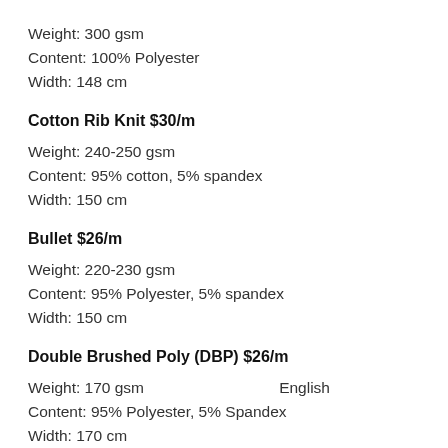Weight: 300 gsm
Content: 100% Polyester
Width: 148 cm
Cotton Rib Knit $30/m
Weight: 240-250 gsm
Content: 95% cotton, 5% spandex
Width: 150 cm
Bullet $26/m
Weight: 220-230 gsm
Content: 95% Polyester, 5% spandex
Width: 150 cm
Double Brushed Poly (DBP) $26/m
Weight: 170 gsm
Content: 95% Polyester, 5% Spandex
Width: 170 cm